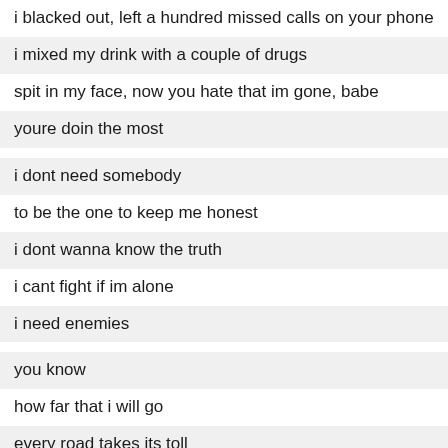i blacked out, left a hundred missed calls on your phone
i mixed my drink with a couple of drugs
spit in my face, now you hate that im gone, babe
youre doin the most
i dont need somebody
to be the one to keep me honest
i dont wanna know the truth
i cant fight if im alone
i need enemies
you know
how far that i will go
every road takes its toll